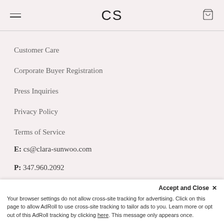CS
Customer Care
Corporate Buyer Registration
Press Inquiries
Privacy Policy
Terms of Service
E: cs@clara-sunwoo.com
P: 347.960.2092
Free Shipping to All Fifty States
Accept and Close ✕
Your browser settings do not allow cross-site tracking for advertising. Click on this page to allow AdRoll to use cross-site tracking to tailor ads to you. Learn more or opt out of this AdRoll tracking by clicking here. This message only appears once.